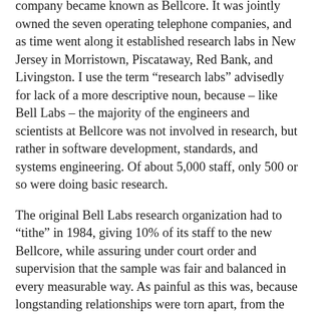company became known as Bellcore. It was jointly owned the seven operating telephone companies, and as time went along it established research labs in New Jersey in Morristown, Piscataway, Red Bank, and Livingston. I use the term “research labs” advisedly for lack of a more descriptive noun, because – like Bell Labs – the majority of the engineers and scientists at Bellcore was not involved in research, but rather in software development, standards, and systems engineering. Of about 5,000 staff, only 500 or so were doing basic research.
The original Bell Labs research organization had to “tithe” in 1984, giving 10% of its staff to the new Bellcore, while assuring under court order and supervision that the sample was fair and balanced in every measurable way. As painful as this was, because longstanding relationships were torn apart, from the standpoint of New Jersey’s research infrastructure it was beneficial. More research jobs were being created in the state. Bellcore was hiring to augment its seed staff, and now there were more research labs in New Jersey locations than before.